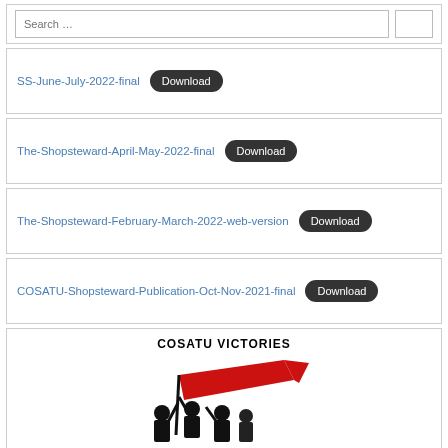Search …
SS-June-July-2022-final  Download
The-Shopsteward-April-May-2022-final  Download
The-Shopsteward-February-March-2022-web-version  Download
COSATU-Shopsteward-Publication-Oct-Nov-2021-final  Download
[Figure (illustration): COSATU VICTORIES heading with black silhouette illustration of workers raising a red banner/flag]